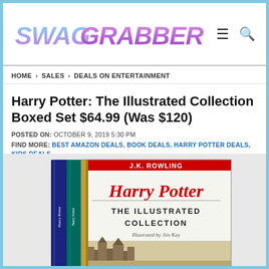[Figure (logo): SwagGrabber logo in stylized italic text with pink/blue gradient]
HOME > SALES > DEALS ON ENTERTAINMENT
Harry Potter: The Illustrated Collection Boxed Set $64.99 (Was $120)
POSTED ON:  OCTOBER 9, 2019 5:30 PM
FIND MORE:  BEST AMAZON DEALS, BOOK DEALS, HARRY POTTER DEALS, KIDS DEALS
[Figure (photo): Harry Potter: The Illustrated Collection boxed set by J.K. Rowling, illustrated by Jim Kay, showing spine and front cover of the box set]